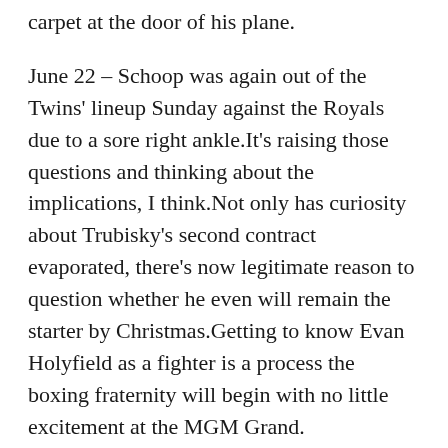carpet at the door of his plane.
June 22 – Schoop was again out of the Twins' lineup Sunday against the Royals due to a sore right ankle.It's raising those questions and thinking about the implications, I think.Not only has curiosity about Trubisky's second contract evaporated, there's now legitimate reason to question whether he even will remain the starter by Christmas.Getting to know Evan Holyfield as a fighter is a process the boxing fraternity will begin with no little excitement at the MGM Grand.
He can knock down jump shots all the way out to a three-point line, but to call that a strength means hitting at clips that the Nowitzkis, Aldridges and Loves of the world can.Hall Curatorship of Rare Books and Manuscripts at the Sheridan Libraries in memory of his wife, who died